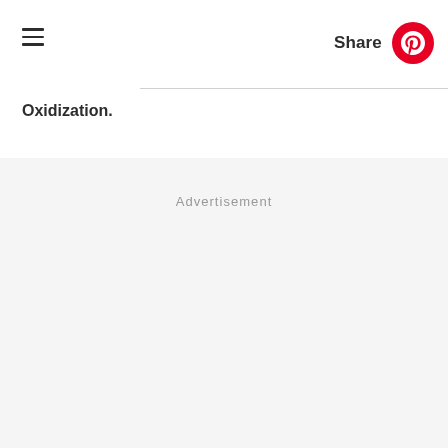≡  Share
Oxidization.
Advertisement